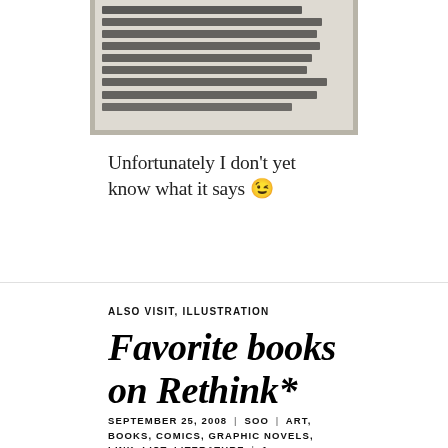[Figure (photo): Close-up photo of Swedish text on a milk carton/package, showing text about www.arla.se/varldensbarn, Radiohjälpen 'Världens Barn', plus- och bankgiro 901950-6]
Unfortunately I don't yet know what it says 😉
ALSO VISIT, ILLUSTRATION
Favorite books on Rethink*
SEPTEMBER 25, 2008 | SOO | ART, BOOKS, COMICS, GRAPHIC NOVELS, LINK, LIST, LITERATURE | 1 COMMENT